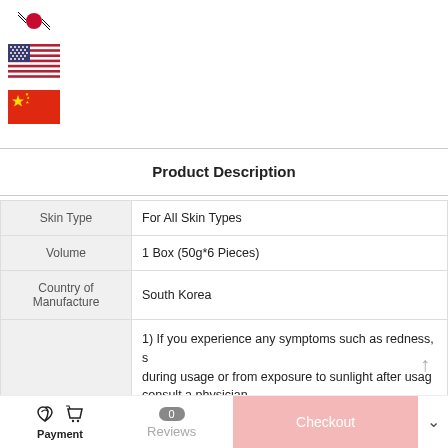[Figure (illustration): Three country flags stacked vertically on the left: South Korea flag (top, partially visible), US flag (middle), China flag (bottom)]
Product Description
|  |  |
| --- | --- |
| Skin Type | For All Skin Types |
| Volume | 1 Box (50g*6 Pieces) |
| Country of Manufacture | South Korea |
| Caution | 1) If you experience any symptoms such as redness, s... during usage or from exposure to sunlight after usag... consult a physician.
2) Do not use the product on wounds or any area of ...
3) Storage and handling precautions
a) Keep away from reach of children.
b) Keep away from direct sunlight. |
Payment   Reviews  0   Checkout